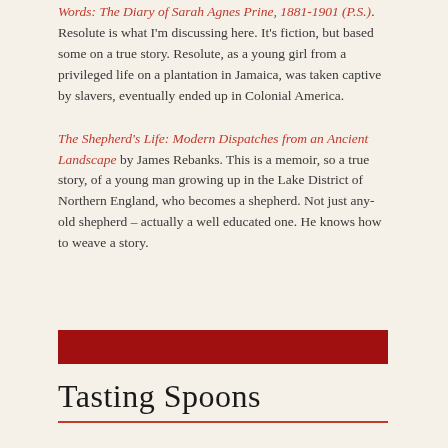Words: The Diary of Sarah Agnes Prine, 1881-1901 (P.S.). Resolute is what I'm discussing here. It's fiction, but based some on a true story. Resolute, as a young girl from a privileged life on a plantation in Jamaica, was taken captive by slavers, eventually ended up in Colonial America.
The Shepherd's Life: Modern Dispatches from an Ancient Landscape by James Rebanks. This is a memoir, so a true story, of a young man growing up in the Lake District of Northern England, who becomes a shepherd. Not just any-old shepherd – actually a well educated one. He knows how to weave a story.
[Figure (other): A solid dark red/crimson horizontal bar spanning the content column width]
Tasting Spoons